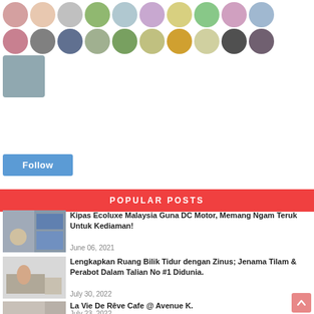[Figure (illustration): Grid of circular avatar/profile photos of blog followers - two rows of 10 avatars plus one additional avatar]
[Figure (illustration): Blue Follow button]
POPULAR POSTS
[Figure (photo): Thumbnail image for Kipas Ecoluxe article showing ceiling fans and a person]
Kipas Ecoluxe Malaysia Guna DC Motor, Memang Ngam Teruk Untuk Kediaman!
June 06, 2021
[Figure (photo): Thumbnail image for Zinus article showing a person sitting on a bed in a furniture showroom]
Lengkapkan Ruang Bilik Tidur dengan Zinus; Jenama Tilam & Perabot Dalam Talian No #1 Didunia.
July 30, 2022
[Figure (photo): Thumbnail image for La Vie De Reve Cafe article showing cafe exterior]
La Vie De Rêve Cafe @ Avenue K.
July 23, 2022